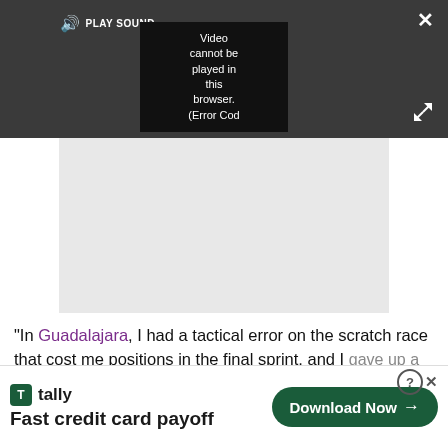[Figure (screenshot): Video player bar with dark grey background showing sound icon, PLAY SOUND button, and a black video area with error text 'Video cannot be played in this browser. (Error Cod' and close/expand buttons]
[Figure (screenshot): Light grey video placeholder area below the video player bar]
"In Guadalajara, I had a tactical error on the scratch race that cost me positions in the final sprint, and I gave up a little in the kilo and flying lap. London, I was
[Figure (screenshot): Advertisement banner for Tally app: 'Fast credit card payoff' with Download Now button and close/help icons]